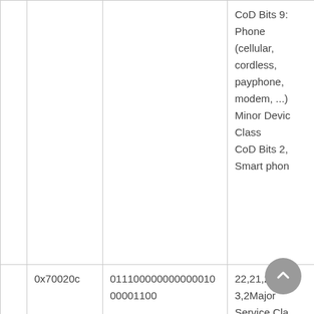|  |  |  | CoD Bits 9:
Phone (cellular, cordless, payphone, modem, ...)
Minor Device Class
CoD Bits 2,
Smart phone |
|  | 0x70020c | 0110000000000001000001100 | 22,21,20 | 9
3,2Major Service Class
CoD Bits 2:
Telephony |